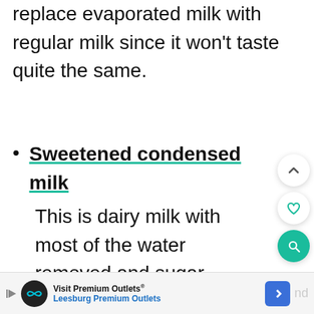replace evaporated milk with regular milk since it won't taste quite the same.
Sweetened condensed milk
This is dairy milk with most of the water removed and sugar added, so it is creamier
[Figure (other): Advertisement banner: Visit Premium Outlets - Leesburg Premium Outlets, with logo, play button, and navigation icon]